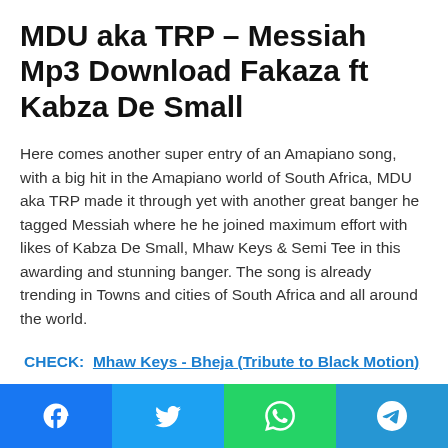MDU aka TRP – Messiah Mp3 Download Fakaza ft Kabza De Small
Here comes another super entry of an Amapiano song, with a big hit in the Amapiano world of South Africa, MDU aka TRP made it through yet with another great banger he tagged Messiah where he he joined maximum effort with likes of Kabza De Small, Mhaw Keys & Semi Tee in this awarding and stunning banger. The song is already trending in Towns and cities of South Africa and all around the world.
CHECK:  Mhaw Keys - Bheja (Tribute to Black Motion)